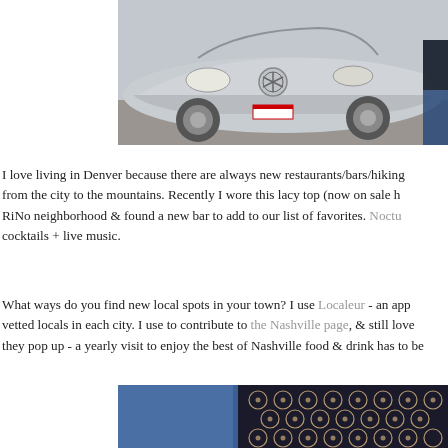[Figure (photo): Front view of a silver Mercedes-Benz car parked outdoors, with a person visible at right edge wearing jeans]
I love living in Denver because there are always new restaurants/bars/hiking from the city to the mountains. Recently I wore this lacy top (now on sale h RiNo neighborhood & found a new bar to add to our list of favorites. Noctu cocktails + live music.
What ways do you find new local spots in your town? I use Localeur - an app vetted locals in each city. I use to contribute to the Nashville page, & still love they pop up - a yearly visit to enjoy the best of Nashville food & drink has to be
[Figure (photo): Close-up of a person wearing a black lacy/patterned top with circular geometric designs, blue background visible at left]